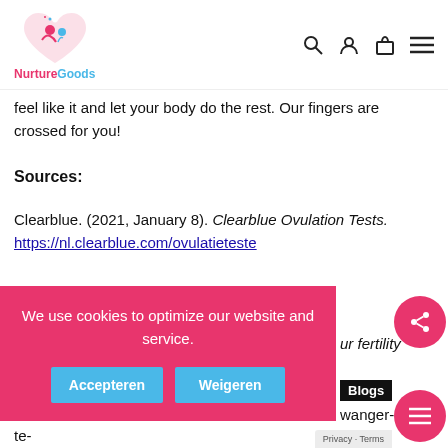[Figure (logo): NurtureGoods logo — pink heart with mother and baby, pink and blue text]
feel like it and let your body do the rest. Our fingers are crossed for you!
Sources:
Clearblue. (2021, January 8). Clearblue Ovulation Tests. https://nl.clearblue.com/ovulatieteste...
...ur fertility
Blogs
...wanger-
te-
We use cookies to optimize our website and service.
Accepteren
Weigeren